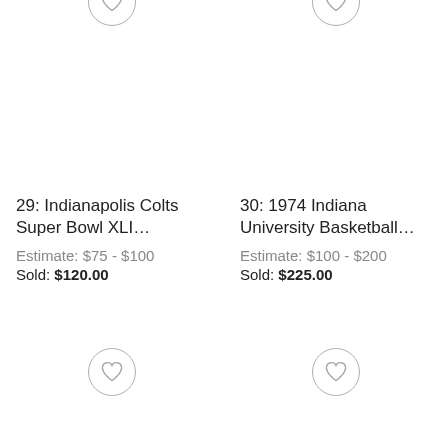29: Indianapolis Colts Super Bowl XLI…
Estimate: $75 - $100
Sold: $120.00
30: 1974 Indiana University Basketball…
Estimate: $100 - $200
Sold: $225.00